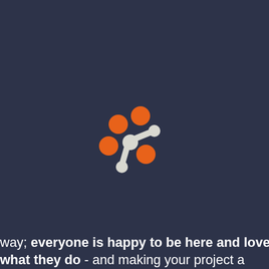[Figure (logo): A logo consisting of five orange circles arranged in a scattered cluster pattern, connected by a white/light-gray branching connector shape resembling a molecule or network node.]
way; everyone is happy to be here and love what they do - and making your project a